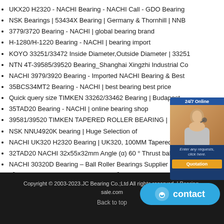UKX20 H2320 - NACHI Bearing - NACHI Call - GDO Bearing
NSK Bearings | 53434X Bearing | Germany & Thornhill | NNB
3779/3720 Bearing - NACHI | global bearing brand
H-1280/H-1220 Bearing - NACHI | bearing import
KOYO 33251/33472 Inside Diameter,Outside Diameter | 33251
NTN 4T-39585/39520 Bearing_Shanghai Xingzhi Industrial Co
NACHI 3979/3920 Bearing - Imported NACHI Bearing & Best
35BCS34MT2 Bearing - NACHI | best bearing best price
Quick query size TIMKEN 33262/33462 Bearing | Budapest
35TAD20 Bearing - NACHI | online bearing shop
39581/39520 TIMKEN TAPERED ROLLER BEARING |
NSK NNU4920K bearing | Huge Selection of
NACHI UK320 H2320 Bearing | UK320, 100MM Tapered Bore B
32TAD20 NACHI 32x55x32mm Angle (α) 60 ° Thrust ball
NACHI 30320D Bearing – Ball Roller Bearings Supplier
【NTN NNU4934K bearing in Bhutan】Best Price And 5 - 7 Days
KOYO 3878/3820 bearing | 3878/3820 Custom products
Copyright © 2003-2023.JC Bearing Co.;Ltd All rights reserved. | bearing-sale.com
Back to top